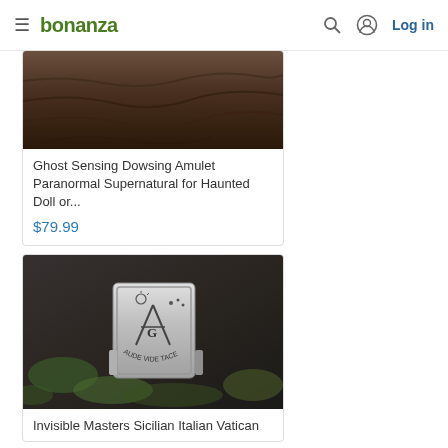bonanza | Log in
[Figure (photo): Partial product image at top, dark textured surface, cropped]
Ghost Sensing Dowsing Amulet Paranormal Supernatural for Haunted Doll or...
$79.99
[Figure (photo): Silver Masonic ring with compass and square symbol engraved, sitting on mossy rock surface]
Invisible Masters Sicilian Italian Vatican